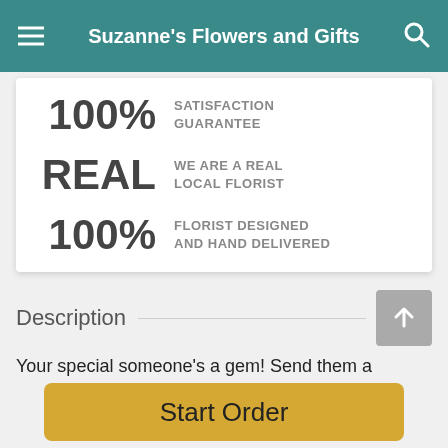Suzanne's Flowers and Gifts
100% SATISFACTION GUARANTEE
REAL WE ARE A REAL LOCAL FLORIST
100% FLORIST DESIGNED AND HAND DELIVERED
Description
Your special someone's a gem! Send them a surprise as dazzling as they are with this jewel-toned arrangement
Start Order